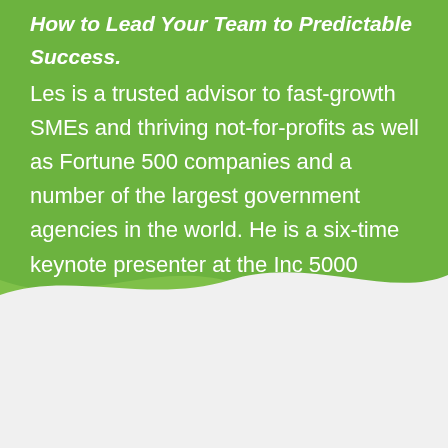How to Lead Your Team to Predictable Success. Les is a trusted advisor to fast-growth SMEs and thriving not-for-profits as well as Fortune 500 companies and a number of the largest government agencies in the world. He is a six-time keynote presenter at the Inc 5000 awards.
Enroll today and get INSTANT ACCESS to this course: